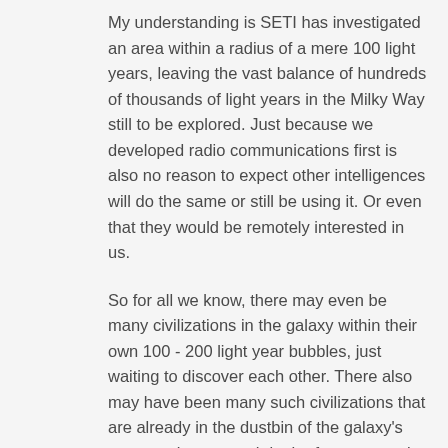My understanding is SETI has investigated an area within a radius of a mere 100 light years, leaving the vast balance of hundreds of thousands of light years in the Milky Way still to be explored. Just because we developed radio communications first is also no reason to expect other intelligences will do the same or still be using it. Or even that they would be remotely interested in us.
So for all we know, there may even be many civilizations in the galaxy within their own 100 - 200 light year bubbles, just waiting to discover each other. There also may have been many such civilizations that are already in the dustbin of the galaxy's eons, and many such in the future centuries of our galaxy.
Our sun's mundane location in the relative backwater of the galaxy, combined with humanity's rather recent development is a perfectly logical reason why no else one has found us yet. If we want to be found that is...